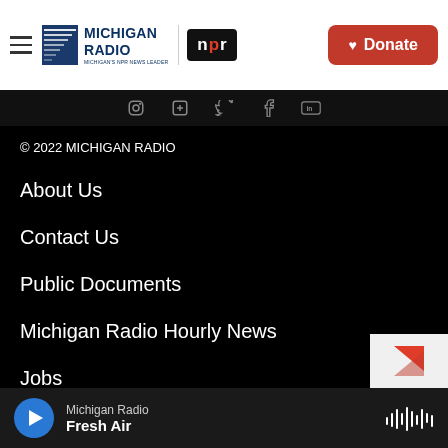Michigan Radio — NPR — Donate
© 2022 MICHIGAN RADIO
About Us
Contact Us
Public Documents
Michigan Radio Hourly News
Jobs
Help with Streaming
Contest Rules
Michigan Radio — Fresh Air